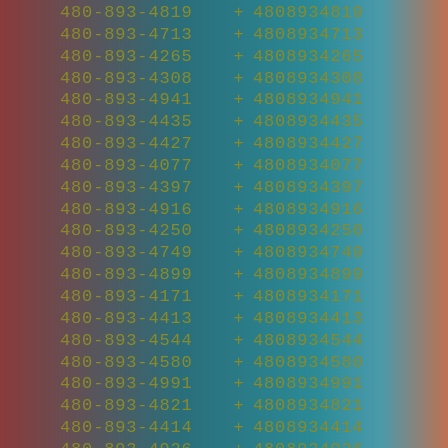480-893-4819 + 4808934819
480-893-4713 + 4808934713
480-893-4265 + 4808934265
480-893-4308 + 4808934308
480-893-4941 + 4808934941
480-893-4435 + 4808934435
480-893-4427 + 4808934427
480-893-4077 + 4808934077
480-893-4397 + 4808934397
480-893-4916 + 4808934916
480-893-4250 + 4808934250
480-893-4749 + 4808934749
480-893-4899 + 4808934899
480-893-4171 + 4808934171
480-893-4413 + 4808934413
480-893-4544 + 4808934544
480-893-4580 + 4808934580
480-893-4991 + 4808934991
480-893-4821 + 4808934821
480-893-4414 + 4808934414
480-893-4926 + 4808934926
480-893-4961 + 4808934961
480-893-4364 + 4808934364